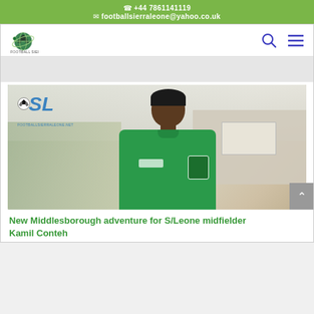📞 +44 7861141119
✉ footballsierraleone@yahoo.co.uk
[Figure (logo): Football Sierra Leone website logo — soccer ball with globe design]
[Figure (photo): Young Black man in green Sierra Leone Football Association jersey, photographed in an interior setting with staircase and artwork visible. Football Sierra Leone website watermark (SL with soccer ball) overlaid in top left.]
New Middlesborough adventure for S/Leone midfielder Kamil Conteh